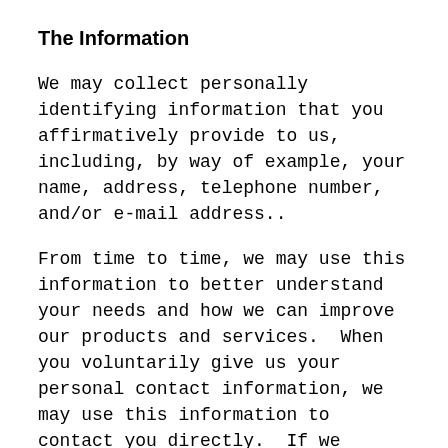The Information
We may collect personally identifying information that you affirmatively provide to us, including, by way of example, your name, address, telephone number, and/or e-mail address..
From time to time, we may use this information to better understand your needs and how we can improve our products and services.  When you voluntarily give us your personal contact information, we may use this information to contact you directly.  If we contact you by e-mail, you can opt-out of receiving future e-mails from us at any time by following the instructions in the